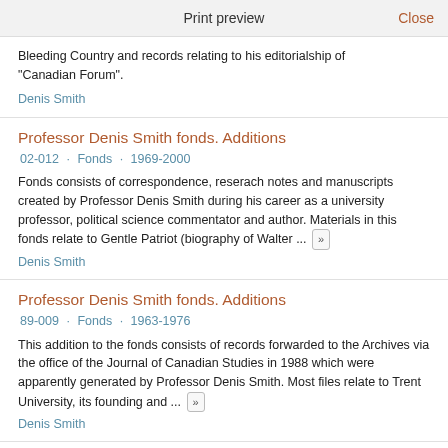Print preview   Close
Bleeding Country and records relating to his editorialship of "Canadian Forum".
Denis Smith
Professor Denis Smith fonds. Additions
02-012 · Fonds · 1969-2000
Fonds consists of correspondence, reserach notes and manuscripts created by Professor Denis Smith during his career as a university professor, political science commentator and author. Materials in this fonds relate to Gentle Patriot (biography of Walter ... »
Denis Smith
Professor Denis Smith fonds. Additions
89-009 · Fonds · 1963-1976
This addition to the fonds consists of records forwarded to the Archives via the office of the Journal of Canadian Studies in 1988 which were apparently generated by Professor Denis Smith. Most files relate to Trent University, its founding and ... »
Denis Smith
Professor Denis Smith fonds. Additions